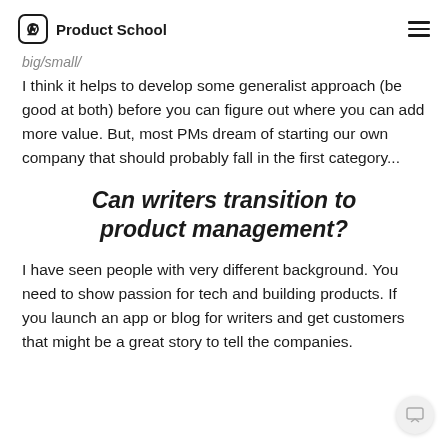Product School
big/small/
I think it helps to develop some generalist approach (be good at both) before you can figure out where you can add more value. But, most PMs dream of starting our own company that should probably fall in the first category...
Can writers transition to product management?
I have seen people with very different background. You need to show passion for tech and building products. If you launch an app or blog for writers and get customers that might be a great story to tell the companies.